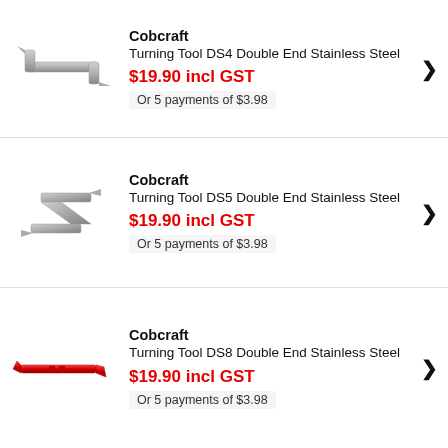[Figure (photo): Cobcraft Turning Tool DS4 Double End Stainless Steel product photo - silver/grey S-shaped turning tool]
Cobcraft
Turning Tool DS4 Double End Stainless Steel
$19.90 incl GST
Or 5 payments of $3.98
[Figure (photo): Cobcraft Turning Tool DS5 Double End Stainless Steel product photo - silver/grey Z-shaped turning tool]
Cobcraft
Turning Tool DS5 Double End Stainless Steel
$19.90 incl GST
Or 5 payments of $3.98
[Figure (photo): Cobcraft Turning Tool DS8 Double End Stainless Steel product photo - red turning tool]
Cobcraft
Turning Tool DS8 Double End Stainless Steel
$19.90 incl GST
Or 5 payments of $3.98